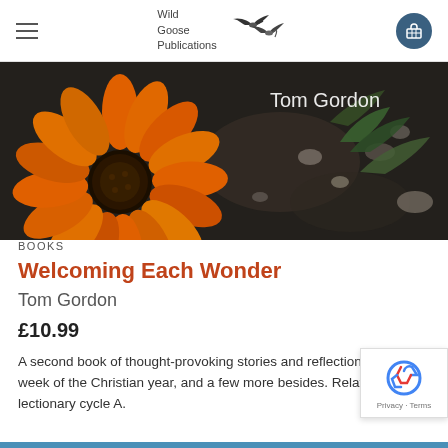Wild Goose Publications
[Figure (photo): Close-up photo of an orange flower (gazania/daisy) with dark soil and green leaves in background. Text 'Tom Gordon' appears in upper right of image.]
BOOKS
Welcoming Each Wonder
Tom Gordon
£10.99
A second book of thought-provoking stories and reflections for every week of the Christian year, and a few more besides. Relates to lectionary cycle A.